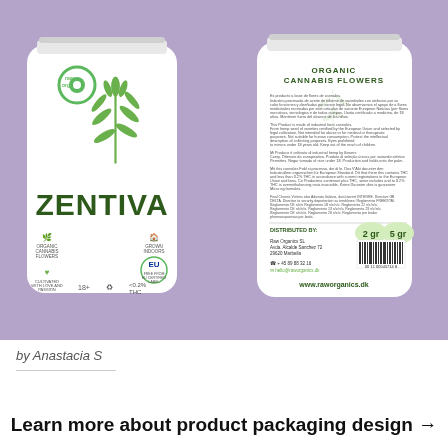[Figure (photo): Photo of two white product packaging bags for 'Zentiva' organic cannabis flowers by raworganics. Front bag shows the brand name ZENTIVA in large bold green letters, a green cannabis plant illustration, raworganics logo, EU certified label, 18+ and <0.2% THC icons. Back bag shows product information text, ORGANIC CANNABIS FLOWERS header, distributed by address, barcode, 2gr and 5gr size options, and website www.raworganics.dk.]
by Anastacia S
Learn more about product packaging design →